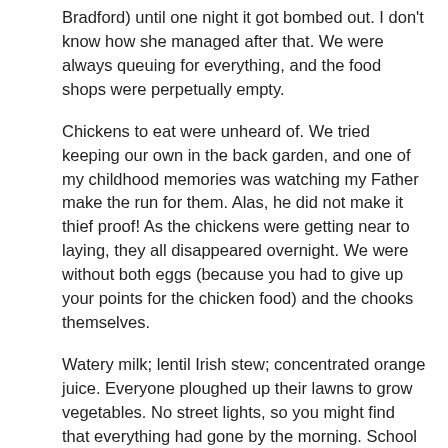Bradford) until one night it got bombed out. I don't know how she managed after that. We were always queuing for everything, and the food shops were perpetually empty.
Chickens to eat were unheard of. We tried keeping our own in the back garden, and one of my childhood memories was watching my Father make the run for them. Alas, he did not make it thief proof! As the chickens were getting near to laying, they all disappeared overnight. We were without both eggs (because you had to give up your points for the chicken food) and the chooks themselves.
Watery milk; lentil Irish stew; concentrated orange juice. Everyone ploughed up their lawns to grow vegetables. No street lights, so you might find that everything had gone by the morning. School milk. And on one occasion, we sat down to the table on a Sunday, and the meat ration was so small that all we could do was sit and laugh at it.
I don't think it was all healthy, as many of your